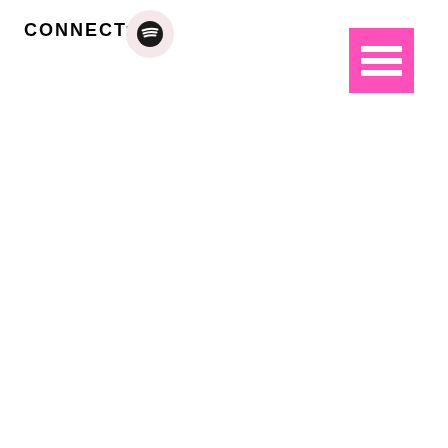CONNECT:
[Figure (logo): Spotify logo icon — circular badge with light pink/white background and dark Spotify icon in center]
[Figure (other): Pink/hot-pink square button with three horizontal white lines (hamburger menu icon)]